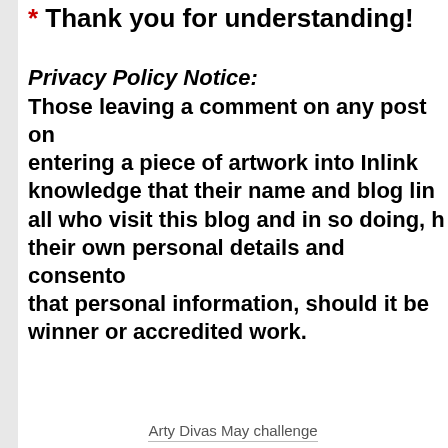* Thank you for understanding!
Privacy Policy Notice:
Those leaving a comment on any post on entering a piece of artwork into Inlink knowledge that their name and blog lin all who visit this blog and in so doing, h their own personal details and consento that personal information, should it be winner or accredited work.
Arty Divas May challenge